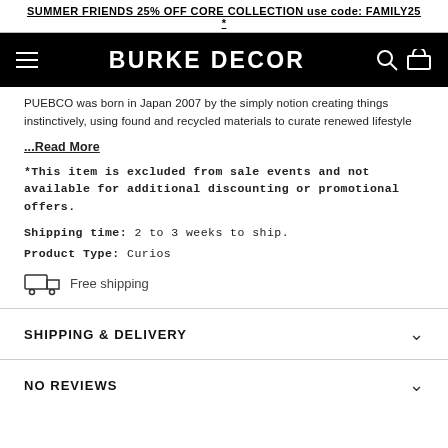SUMMER FRIENDS 25% OFF CORE COLLECTION use code: FAMILY25 *
BURKE DECOR
PUEBCO was born in Japan 2007 by the simply notion creating things instinctively, using found and recycled materials to curate renewed lifestyle
...Read More
*This item is excluded from sale events and not available for additional discounting or promotional offers.
Shipping time: 2 to 3 weeks to ship.
Product Type: Curios
Free shipping
SHIPPING & DELIVERY
NO REVIEWS